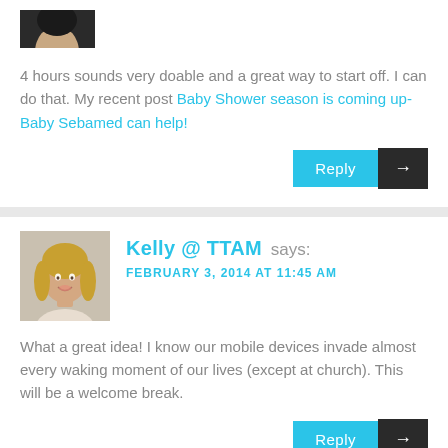[Figure (photo): Partial avatar image of a person with dark hair, cropped at top]
4 hours sounds very doable and a great way to start off. I can do that. My recent post Baby Shower season is coming up-Baby Sebamed can help!
Reply →
[Figure (photo): Avatar photo of Kelly, a woman with long blonde hair, smiling]
Kelly @ TTAM says: FEBRUARY 3, 2014 AT 11:45 AM
What a great idea! I know our mobile devices invade almost every waking moment of our lives (except at church). This will be a welcome break.
Reply →